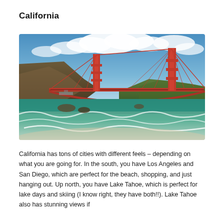California
[Figure (photo): Photo of the Golden Gate Bridge in San Francisco, California, viewed from a beach with waves in the foreground, rocky cliffs on the left, blue sky with white clouds above.]
California has tons of cities with different feels – depending on what you are going for. In the south, you have Los Angeles and San Diego, which are perfect for the beach, shopping, and just hanging out. Up north, you have Lake Tahoe, which is perfect for lake days and skiing (I know right, they have both!!). Lake Tahoe also has stunning views if